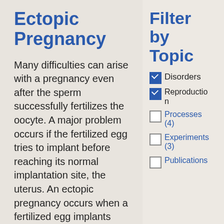Ectopic Pregnancy
Many difficulties can arise with a pregnancy even after the sperm successfully fertilizes the oocyte. A major problem occurs if the fertilized egg tries to implant before reaching its normal implantation site, the uterus. An ectopic pregnancy occurs when a fertilized egg implants anywhere other than in the uterus, most commonly in the fallopian tubes. Ectopic pregnancies cannot continue to term,
Filter by Topic
✓ Disorders
✓ Reproduction
☐ Processes (4)
☐ Experiments (3)
☐ Publications